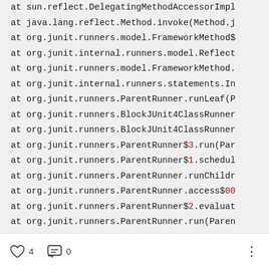at sun.reflect.DelegatingMethodAccessorImpl
    at java.lang.reflect.Method.invoke(Method.j
    at org.junit.runners.model.FrameworkMethod$
    at org.junit.internal.runners.model.Reflect
    at org.junit.runners.model.FrameworkMethod.
    at org.junit.internal.runners.statements.In
    at org.junit.runners.ParentRunner.runLeaf(P
    at org.junit.runners.BlockJUnit4ClassRunner
    at org.junit.runners.BlockJUnit4ClassRunner
    at org.junit.runners.ParentRunner$3.run(Par
    at org.junit.runners.ParentRunner$1.schedul
    at org.junit.runners.ParentRunner.runChildr
    at org.junit.runners.ParentRunner.access$00
    at org.junit.runners.ParentRunner$2.evaluat
    at org.junit.runners.ParentRunner.run(Paren
4  0  ...